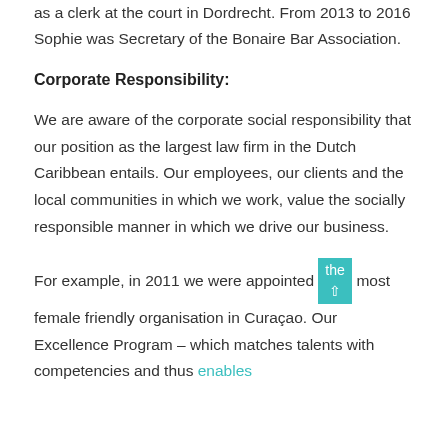as a clerk at the court in Dordrecht. From 2013 to 2016 Sophie was Secretary of the Bonaire Bar Association.
Corporate Responsibility:
We are aware of the corporate social responsibility that our position as the largest law firm in the Dutch Caribbean entails. Our employees, our clients and the local communities in which we work, value the socially responsible manner in which we drive our business.
For example, in 2011 we were appointed the most female friendly organisation in Curaçao. Our Excellence Program – which matches talents with competencies and thus enables